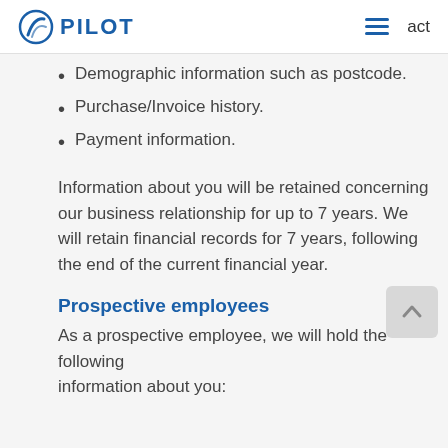PILOT | act
Demographic information such as postcode.
Purchase/Invoice history.
Payment information.
Information about you will be retained concerning our business relationship for up to 7 years. We will retain financial records for 7 years, following the end of the current financial year.
Prospective employees
As a prospective employee, we will hold the following information about you: